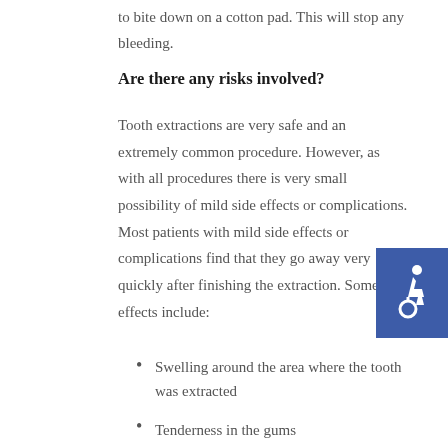to bite down on a cotton pad. This will stop any bleeding.
Are there any risks involved?
Tooth extractions are very safe and an extremely common procedure. However, as with all procedures there is very small possibility of mild side effects or complications. Most patients with mild side effects or complications find that they go away very quickly after finishing the extraction. Some side effects include:
[Figure (illustration): Blue square with white wheelchair accessibility icon]
Swelling around the area where the tooth was extracted
Tenderness in the gums